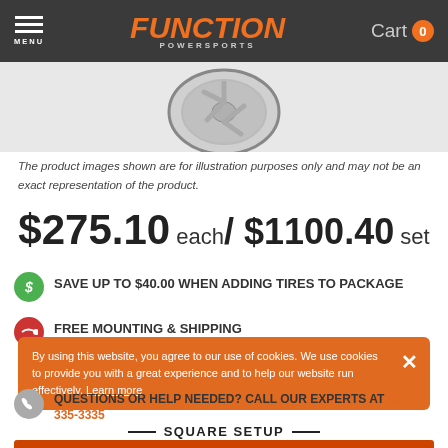MENU | FUNCTION POWERSPORTS | Cart 0
[Figure (photo): Partial view of a chrome/silver alloy wheel rim]
The product images shown are for illustration purposes only and may not be an exact representation of the product.
$275.10 each / $1100.40 set
SAVE UP TO $40.00 WHEN ADDING TIRES TO PACKAGE
FREE MOUNTING & SHIPPING
... SEP 2 ... affirm
QUESTIONS OR HELP NEEDED? CALL OUR EXPERTS AT 920-335-3335
By using this website, you agree to our use of cookies. We use cookies to provide you with a great experience and to help our website run effectively. Learn more
— SQUARE SETUP —
BUY ALL (4) OF THIS SIZE